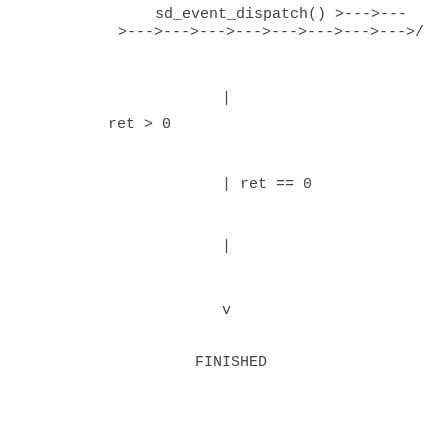[Figure (flowchart): A flowchart fragment showing sd_event_dispatch() called, branching on ret > 0 and ret == 0 conditions, with flow arrows leading down to a FINISHED state node rendered in monospace ASCII art.]